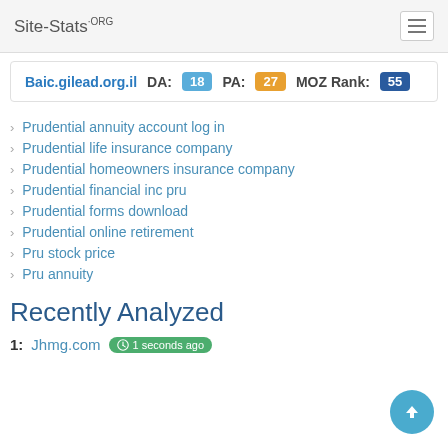Site-Stats.ORG
Baic.gilead.org.il  DA: 18  PA: 27  MOZ Rank: 55
Prudential annuity account log in
Prudential life insurance company
Prudential homeowners insurance company
Prudential financial inc pru
Prudential forms download
Prudential online retirement
Pru stock price
Pru annuity
Recently Analyzed
1: Jhmg.com  1 seconds ago